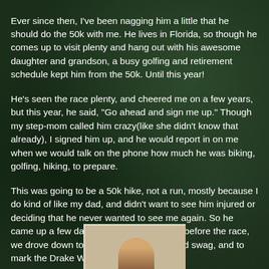Ever since then, I've been nagging him a little that he should do the 50k with me.  He lives in Florida, so though he comes up to visit plenty and hang out with his awesome daughter and grandson, a busy golfing and retirement schedule kept him from the 50k.  Until this year!
He's seen the race plenty, and cheered me on a few years, but this year, he said, "Go ahead and sign me up."  Though my step-mom called him crazy(like she didn't know that already), I signed him up, and he would report in on me when we would talk on the phone how much he was biking, golfing, hiking, to prepare.
This was going to be a 50k hike, not a run, mostly because I do kind of like my dad, and didn't want to see him injured or deciding that he never wanted to see me again.  So he came up a few days before, and the night before the race, we drove down to pick up our numbers and swag, and to mark the Drake Well loop of the course.
[Figure (photo): Partial view of a photo showing a person, partially visible at the bottom of the page, appearing to hold something. Photo has a light/cream background.]